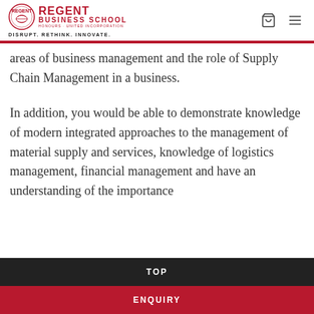REGENT BUSINESS SCHOOL — DISRUPT. RETHINK. INNOVATE.
areas of business management and the role of Supply Chain Management in a business.
In addition, you would be able to demonstrate knowledge of modern integrated approaches to the management of material supply and services, knowledge of logistics management, financial management and have an understanding of the importance
TOP
ENQUIRY